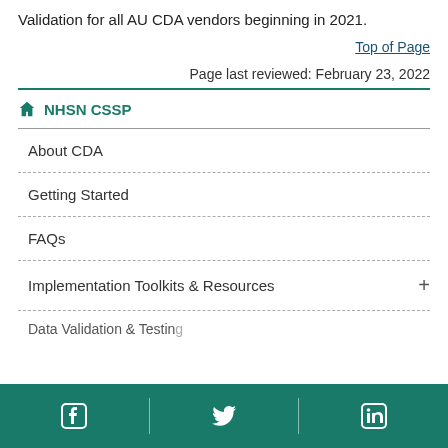Validation for all AU CDA vendors beginning in 2021.
Top of Page
Page last reviewed: February 23, 2022
NHSN CSSP
About CDA
Getting Started
FAQs
Implementation Toolkits & Resources
Data Validation & Testing
Social media links: Facebook, Twitter, LinkedIn